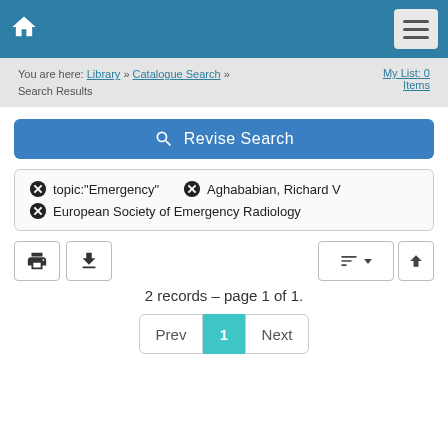Home | Menu
You are here: Library » Catalogue Search » Search Results    My List: 0 Items
Revise Search
✕ topic:"Emergency"   ✕ Aghababian, Richard V   ✕ European Society of Emergency Radiology
2 records – page 1 of 1.
Prev  1  Next